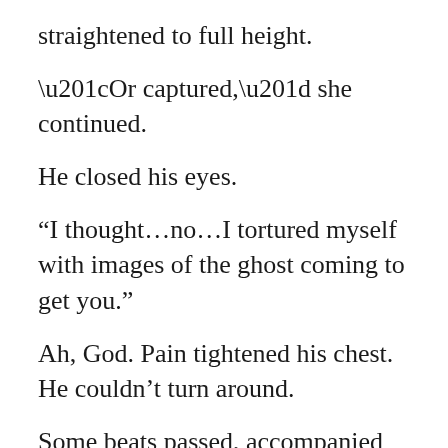straightened to full height.
“Or captured,” she continued.
He closed his eyes.
“I thought…no…I tortured myself with images of the ghost coming to get you.”
Ah, God. Pain tightened his chest. He couldn’t turn around.
Some beats passed, accompanied only by the